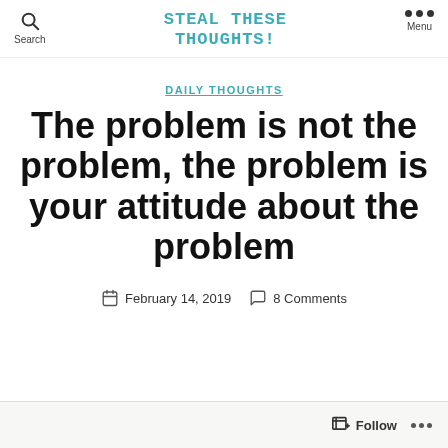STEAL THESE THOUGHTS!
DAILY THOUGHTS
The problem is not the problem, the problem is your attitude about the problem
February 14, 2019   8 Comments
Follow